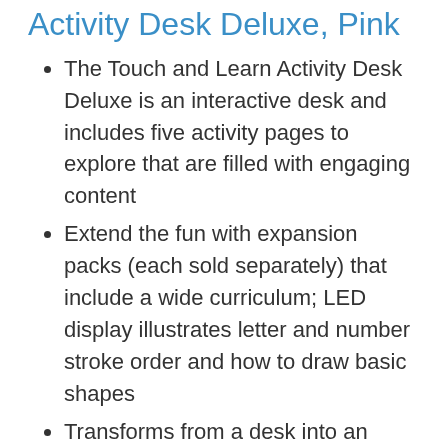Activity Desk Deluxe, Pink
The Touch and Learn Activity Desk Deluxe is an interactive desk and includes five activity pages to explore that are filled with engaging content
Extend the fun with expansion packs (each sold separately) that include a wide curriculum; LED display illustrates letter and number stroke order and how to draw basic shapes
Transforms from a desk into an easel and chalkboard with storage